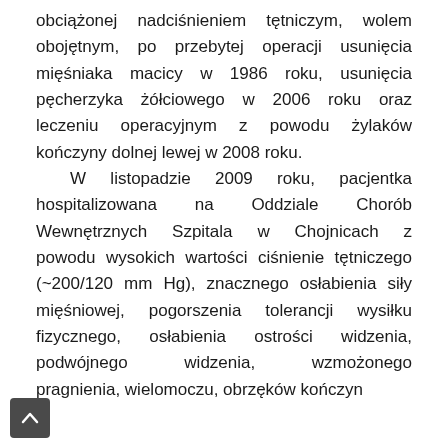obciążonej nadciśnieniem tętniczym, wolem obojętnym, po przebytej operacji usunięcia mięśniaka macicy w 1986 roku, usunięcia pęcherzyka żółciowego w 2006 roku oraz leczeniu operacyjnym z powodu żylaków kończyny dolnej lewej w 2008 roku.

W listopadzie 2009 roku, pacjentka hospitalizowana na Oddziale Chorób Wewnętrznych Szpitala w Chojnicach z powodu wysokich wartości ciśnienie tętniczego (~200/120 mm Hg), znacznego osłabienia siły mięśniowej, pogorszenia tolerancji wysiłku fizycznego, osłabienia ostrości widzenia, podwójnego widzenia, wzmożonego pragnienia, wielomoczu, obrzęków kończyn